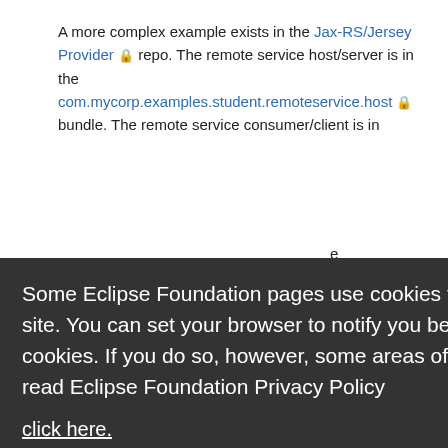A more complex example exists in the Jax-RS/Jersey Provider 🔒 repo. The remote service host/server is in the com.mycorp.examples.student.remoteservice.host 🔒 bundle. The remote service consumer/client is in the
Some Eclipse Foundation pages use cookies to better serve you when you return to the site. You can set your browser to notify you before you receive a cookie or turn off cookies. If you do so, however, some areas of some sites may not function properly. To read Eclipse Foundation Privacy Policy
click here.
Decline
Allow cookies
Implementation